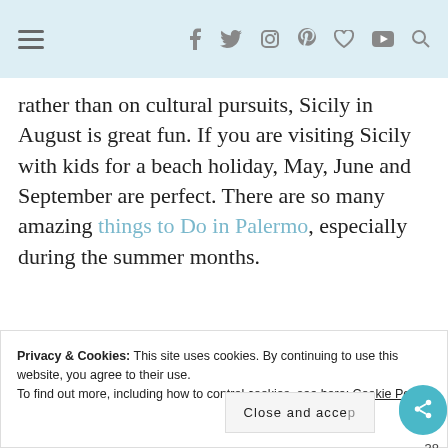≡   f  twitter  instagram  pinterest  heart  youtube  search
rather than on cultural pursuits, Sicily in August is great fun. If you are visiting Sicily with kids for a beach holiday, May, June and September are perfect. There are so many amazing things to Do in Palermo, especially during the summer months.
[Figure (photo): Sky and landscape photo, blue and misty tones, partially visible]
Privacy & Cookies: This site uses cookies. By continuing to use this website, you agree to their use.
To find out more, including how to control cookies, see here: Cookie Policy
Close and accept